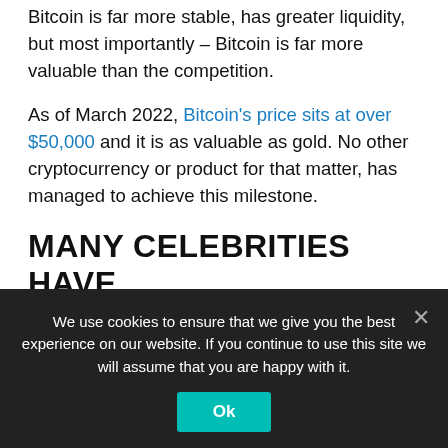Bitcoin is far more stable, has greater liquidity, but most importantly – Bitcoin is far more valuable than the competition.
As of March 2022, Bitcoin's price sits at over $50,000 and it is as valuable as gold. No other cryptocurrency or product for that matter, has managed to achieve this milestone.
MANY CELEBRITIES HAVE INVESTED IN BITCOIN
[Figure (photo): Photo of a person with gray hair against a red background, alongside a golden Bitcoin coin symbol]
We use cookies to ensure that we give you the best experience on our website. If you continue to use this site we will assume that you are happy with it.